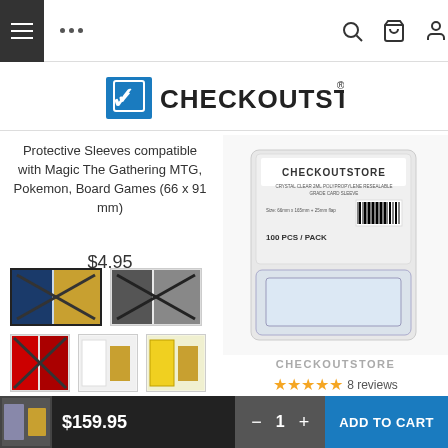Navigation bar with hamburger menu, dots, search, cart, and account icons
[Figure (logo): CheckOutStore logo with blue shopping cart and checkmark icon]
Protective Sleeves compatible with Magic The Gathering MTG, Pokemon, Board Games (66 x 91 mm)
$4.95
[Figure (photo): Five thumbnail images of card sleeve product variants]
50 | 100 | 200 | 300 quantity options
[Figure (photo): Product photo: CheckOutStore Crystal Clear card sleeves package]
CHECKOUTSTORE
★★★★★ 8 reviews
CheckOutStore Crystal Clear PSA Graded Card Snug Fit Protective Sleeves with Sealable Flap
$159.95  −  1  +  ADD TO CART